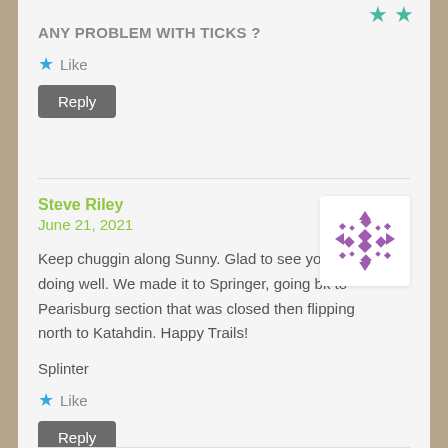[Figure (other): Two teal star icons in top-right corner]
ANY PROBLEM WITH TICKS ?
Like
Reply
Steve Riley
June 21, 2021
[Figure (other): Purple geometric decorative avatar icon with diamond/cross pattern]
Keep chuggin along Sunny. Glad to see you're doing well. We made it to Springer, going bk to Pearisburg section that was closed then flipping north to Katahdin. Happy Trails!
Splinter
Like
Reply